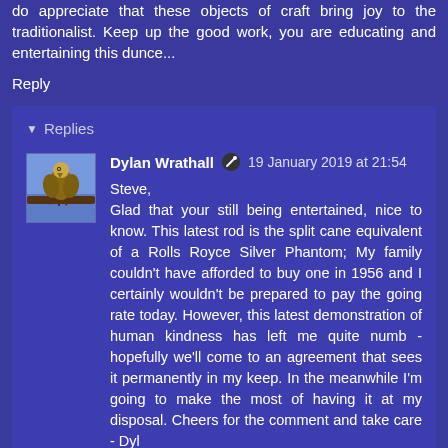do appreciate that these objects of craft bring joy to the traditionalist. Keep up the good work, you are educating and entertaining this dunce...
Reply
Replies
[Figure (photo): Avatar photo of a bird (hawk/falcon) on a branch against a blue sky background]
Dylan Wrathall  19 January 2019 at 21:54
Steve,
Glad that your still being entertained, nice to know. This latest rod is the split cane equivalent of a Rolls Royce Silver Phantom; My family couldn't have afforded to buy one in 1956 and I certainly wouldn't be prepared to pay the going rate today. However, this latest demonstration of human kindness has left me quite numb - hopefully we'll come to an agreement that sees it permanently in my keep. In the meanwhile I'm going to make the most of having it at my disposal. Cheers for the comment and take care - Dyl